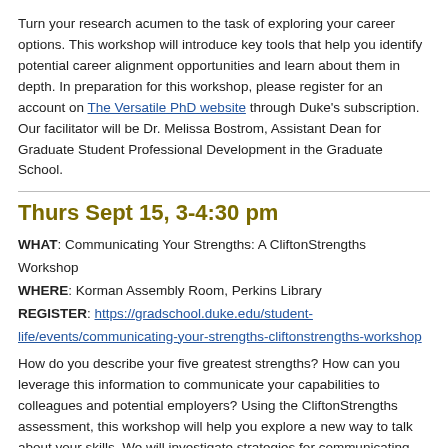Turn your research acumen to the task of exploring your career options. This workshop will introduce key tools that help you identify potential career alignment opportunities and learn about them in depth. In preparation for this workshop, please register for an account on The Versatile PhD website through Duke's subscription. Our facilitator will be Dr. Melissa Bostrom, Assistant Dean for Graduate Student Professional Development in the Graduate School.
Thurs Sept 15, 3-4:30 pm
WHAT: Communicating Your Strengths: A CliftonStrengths Workshop
WHERE: Korman Assembly Room, Perkins Library
REGISTER: https://gradschool.duke.edu/student-life/events/communicating-your-strengths-cliftonstrengths-workshop
How do you describe your five greatest strengths? How can you leverage this information to communicate your capabilities to colleagues and potential employers? Using the CliftonStrengths assessment, this workshop will help you explore a new way to talk about your skills. We will investigate strategies for communicating your strengths to others, the challenges that your strengths might pose for you, and ways you can use information about your strengths to thrive in a team setting. The online CliftonStrengths assessment is offered to all registered participants in this